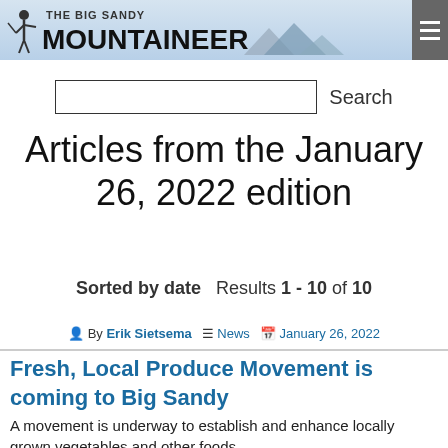The Big Sandy Mountaineer
Articles from the January 26, 2022 edition
Sorted by date  Results 1 - 10 of 10
By Erik Sietsema  News  January 26, 2022
Fresh, Local Produce Movement is coming to Big Sandy
A movement is underway to establish and enhance locally grown vegetables and other foods